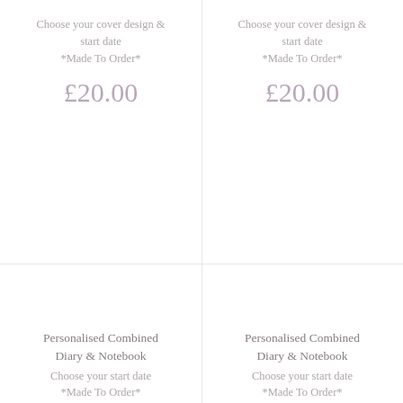Choose your cover design & start date
*Made To Order*
£20.00
Choose your cover design & start date
*Made To Order*
£20.00
Personalised Combined Diary & Notebook
Choose your start date
*Made To Order*
Personalised Combined Diary & Notebook
Choose your start date
*Made To Order*